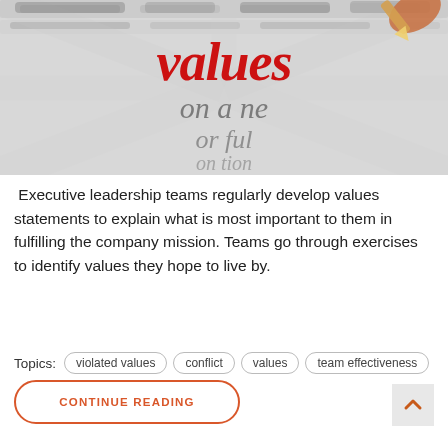[Figure (photo): Zoomed dictionary/text image with the word 'values' highlighted in red, partially visible text 'on a ne' and 'or ful' and 'on tion', with a hand holding a pencil visible in upper right corner. Black and white with radial motion blur effect.]
Executive leadership teams regularly develop values statements to explain what is most important to them in fulfilling the company mission. Teams go through exercises to identify values they hope to live by.
Topics: violated values  conflict  values  team effectiveness
CONTINUE READING